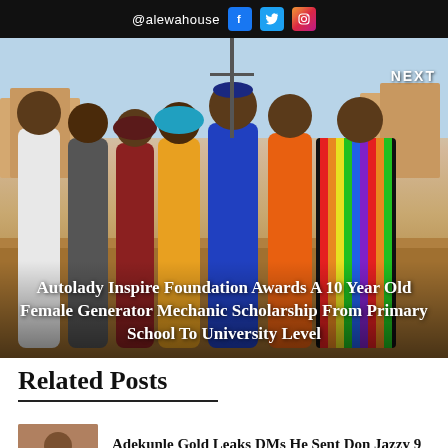@alewahouse [Facebook] [Twitter] [Instagram]
[Figure (photo): Group of seven young people standing together outdoors on sandy ground with buildings in background. They are posing for the camera. The image shows the Autolady Inspire Foundation scholarship award event.]
Autolady Inspire Foundation Awards A 10 Year Old Female Generator Mechanic Scholarship From Primary School To University Level
Related Posts
Adekunle Gold Leaks DMs He Sent Don Jazzy 9 Years Ago